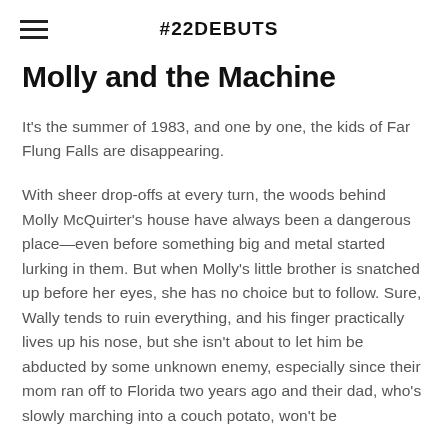#22DEBUTS
Molly and the Machine
It's the summer of 1983, and one by one, the kids of Far Flung Falls are disappearing.
With sheer drop-offs at every turn, the woods behind Molly McQuirter's house have always been a dangerous place—even before something big and metal started lurking in them. But when Molly's little brother is snatched up before her eyes, she has no choice but to follow. Sure, Wally tends to ruin everything, and his finger practically lives up his nose, but she isn't about to let him be abducted by some unknown enemy, especially since their mom ran off to Florida two years ago and their dad, who's slowly marching into a couch potato, won't be